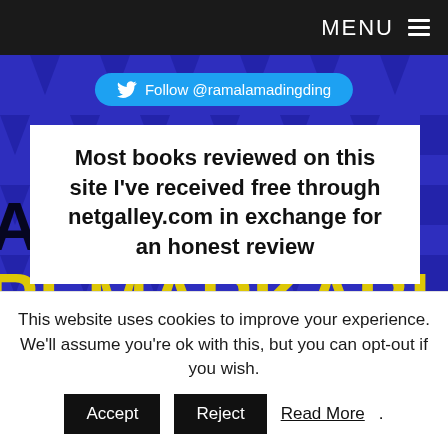MENU ☰
[Figure (screenshot): Twitter follow button with text 'Follow @ramalamadingding' on blue rounded button, and a white overlay box with bold text about netgalley.com book reviews, overlaid on a blue and yellow book cover background showing large text 'ABSOLUTELY REMARKABLE THINGS']
Most books reviewed on this site I've received free through netgalley.com in exchange for an honest review
This website uses cookies to improve your experience. We'll assume you're ok with this, but you can opt-out if you wish.
Accept  Reject  Read More.